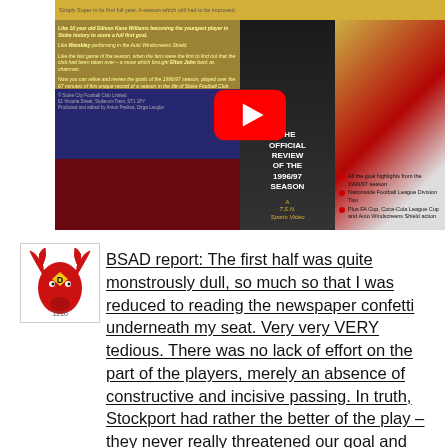[Figure (screenshot): YouTube video thumbnail showing a VHS tape cover of 'The Official Review of the 1996/97 Season' for a football club (Stoke City). The cover features player photos and bullet points: 'All the goal highlights from the 1996/97 season', 'Nationwide Football League Division Two', 'Plus FA Cup, Coca-Cola League Cup and Auto Windscreens Shield action'. A large YouTube play button (red with white triangle) is overlaid in the center.]
[Figure (logo): Small logo icon showing a red antlered moose/deer head with a yellow diamond shape containing the letter D, and the number 1116 below.]
BSAD report: The first half was quite monstrously dull, so much so that I was reduced to reading the newspaper confetti underneath my seat. Very very VERY tedious. There was no lack of effort on the part of the players, merely an absence of constructive and incisive passing. In truth, Stockport had rather the better of the play – they never really threatened our goal and Kevin Miller didn't have a testing save to make but they certainly enjoyed the